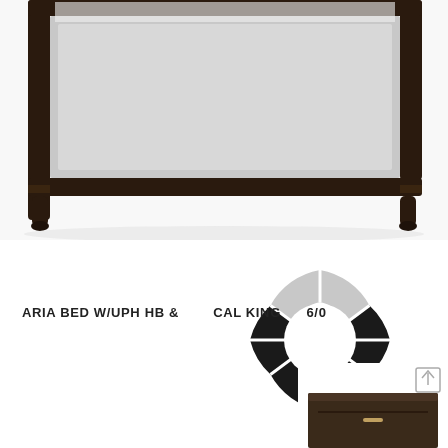[Figure (photo): Partial view of a upholstered bed with dark wood frame and grey fabric panels, viewed from the foot end. White bedding visible. Dark espresso-finished wooden legs and frame with grey upholstered panel inserts.]
[Figure (other): A donut-style loading/spinner graphic with alternating black and light grey segments arranged in a circle, positioned center-right of the page overlapping the product label text.]
ARIA BED W/UPH HB & CAL KING 6/0
[Figure (photo): Partial view of a nightstand or dresser with dark wood finish, shown at bottom right of the page. A small upward arrow icon in grey is visible at the top right corner of this furniture piece.]